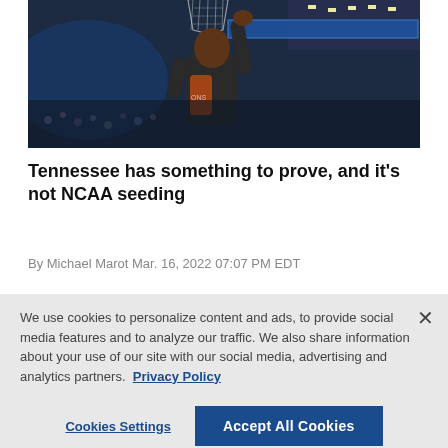[Figure (photo): Basketball player reaching up toward a net, celebrating, wearing a dark shirt, in an arena with blue lighting]
Tennessee has something to prove, and it's not NCAA seeding
By Michael Marot Mar. 16, 2022 07:07 PM EDT
We use cookies to personalize content and ads, to provide social media features and to analyze our traffic. We also share information about your use of our site with our social media, advertising and analytics partners. Privacy Policy
Cookies Settings
Accept All Cookies